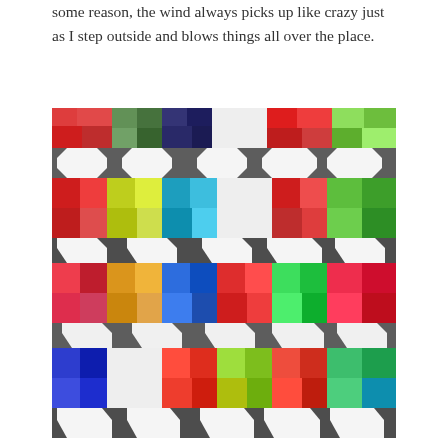some reason, the wind always picks up like crazy just as I step outside and blows things all over the place.
[Figure (photo): A colorful patchwork quilt laid out flat, showing a pattern of brightly colored fabric squares and rectangles in red, green, yellow, blue, and multi-color prints arranged in a star/snowball block pattern with white and gray solid fabric pieces.]